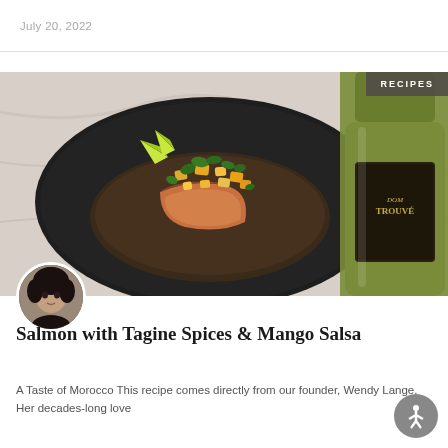July 20, 2022
[Figure (photo): A salmon dish with tagine spices and mango salsa served on a dark plate with quinoa, lime wedges, and fresh herbs, alongside a green wine bottle labeled 'Dom Trouvee']
RECIPES
[Figure (photo): Circular avatar portrait photo of a woman with dark curly hair]
Salmon with Tagine Spices & Mango Salsa
A Taste of Morocco This recipe comes directly from our founder, Wendy Lange. Her decades-long love